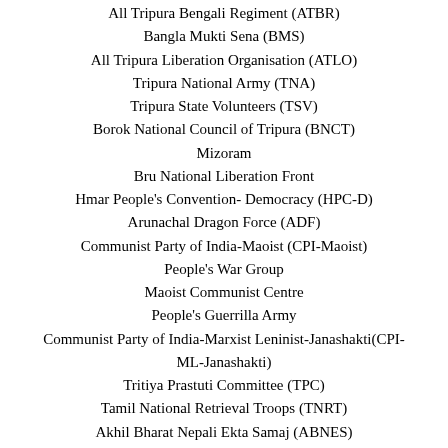All Tripura Bengali Regiment (ATBR)
Bangla Mukti Sena (BMS)
All Tripura Liberation Organisation (ATLO)
Tripura National Army (TNA)
Tripura State Volunteers (TSV)
Borok National Council of Tripura (BNCT)
Mizoram
Bru National Liberation Front
Hmar People's Convention- Democracy (HPC-D)
Arunachal Dragon Force (ADF)
Communist Party of India-Maoist (CPI-Maoist)
People's War Group
Maoist Communist Centre
People's Guerrilla Army
Communist Party of India-Marxist Leninist-Janashakti(CPI-ML-Janashakti)
Tritiya Prastuti Committee (TPC)
Tamil National Retrieval Troops (TNRT)
Akhil Bharat Nepali Ekta Samaj (ABNES)
Tamil Nadu Liberation Army (TNLA)
Deendar Anjuman
Students Islamic Movement of India (SIMI)